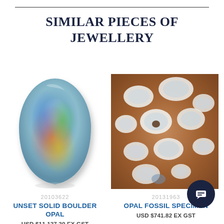SIMILAR PIECES OF JEWELLERY
[Figure (photo): Unset solid boulder opal gemstone showing colorful iridescent fire patterns on grey-blue base]
[Figure (photo): Opal fossil specimen showing white opal formations embedded in brown rocky matrix]
20103622
UNSET SOLID BOULDER OPAL
USD $11,127.20 EX GST
20131963
OPAL FOSSIL SPECIMEN
USD $741.82 EX GST